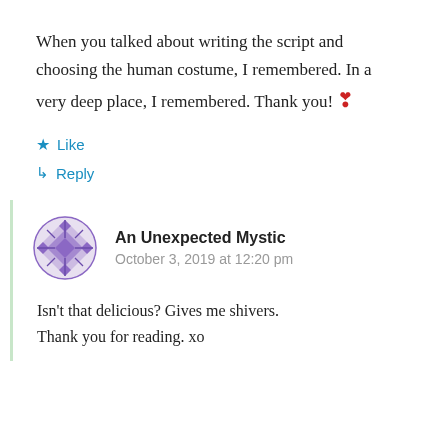When you talked about writing the script and choosing the human costume, I remembered. In a very deep place, I remembered. Thank you! ❣
★ Like
↳ Reply
An Unexpected Mystic
October 3, 2019 at 12:20 pm
Isn't that delicious? Gives me shivers. Thank you for reading. xo